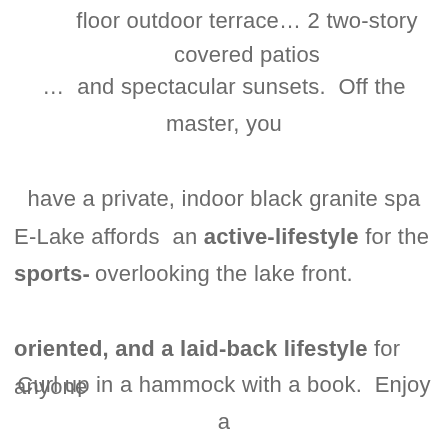floor outdoor terrace… 2 two-story covered patios
…  and spectacular sunsets.  Off the master, you have a private, indoor black granite spa overlooking the lake front.
E-Lake affords  an active-lifestyle for the sports-oriented, and a laid-back lifestyle for anyone wanting resort-style tranquility.
Curl up in a hammock with a book.  Enjoy a leisurely bar-b-que.  Watch the sunset … Linger